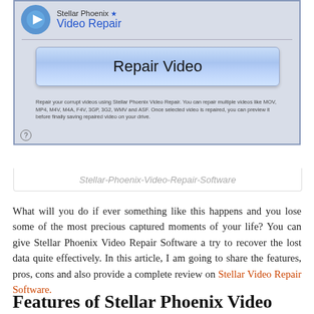[Figure (screenshot): Screenshot of Stellar Phoenix Video Repair software interface showing a 'Repair Video' button and descriptive text about repairing corrupt video files in MOV, MP4, M4V, M4A, F4V, 3GP, 3G2, WMV and ASF formats.]
Stellar-Phoenix-Video-Repair-Software
What will you do if ever something like this happens and you lose some of the most precious captured moments of your life? You can give Stellar Phoenix Video Repair Software a try to recover the lost data quite effectively. In this article, I am going to share the features, pros, cons and also provide a complete review on Stellar Video Repair Software.
Features of Stellar Phoenix Video